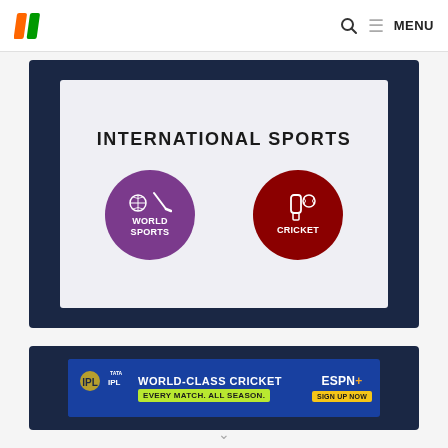HuffPost India — MENU
[Figure (infographic): International Sports section card on dark navy background with two circular icons: World Sports (purple circle with football and hockey stick) and Cricket (dark red circle with cricket bat)]
INTERNATIONAL SPORTS
[Figure (infographic): IPL advertisement banner: TATA IPL logo, World-Class Cricket ESPN+ Sign Up Now, Every Match. All Season.]